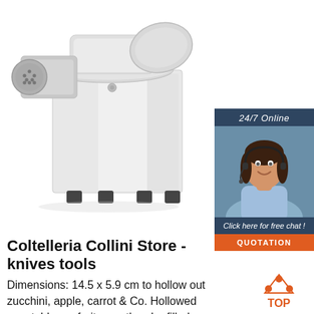[Figure (photo): Professional stainless steel meat grinder / food processing machine on white background]
[Figure (infographic): 24/7 Online chat widget with customer service representative photo, 'Click here for free chat!' text and orange QUOTATION button]
Coltelleria Collini Store - knives tools
Dimensions: 14.5 x 5.9 cm to hollow out zucchini, apple, carrot & Co. Hollowed vegetables or fruits can then be filled creatively savory or sweet Versatile thanks to four different
[Figure (logo): TOP logo with orange triangle dots above the word TOP]